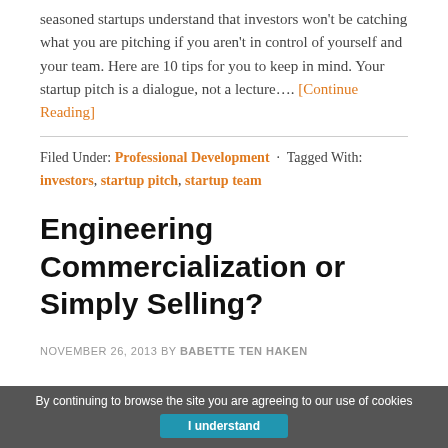seasoned startups understand that investors won't be catching what you are pitching if you aren't in control of yourself and your team. Here are 10 tips for you to keep in mind. Your startup pitch is a dialogue, not a lecture…. [Continue Reading]
Filed Under: Professional Development · Tagged With: investors, startup pitch, startup team
Engineering Commercialization or Simply Selling?
NOVEMBER 26, 2013 BY BABETTE TEN HAKEN
By continuing to browse the site you are agreeing to our use of cookies